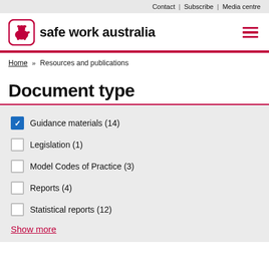Contact | Subscribe | Media centre
[Figure (logo): Safe Work Australia logo with kangaroo icon and bold text 'safe work australia']
Home » Resources and publications
Document type
Guidance materials (14) [checked]
Legislation (1)
Model Codes of Practice (3)
Reports (4)
Statistical reports (12)
Show more